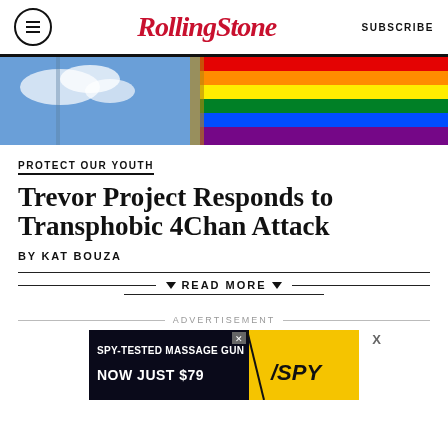Rolling Stone — SUBSCRIBE
[Figure (photo): Rainbow pride flag against a blue sky with clouds]
PROTECT OUR YOUTH
Trevor Project Responds to Transphobic 4Chan Attack
BY KAT BOUZA
▼ READ MORE ▼
ADVERTISEMENT
[Figure (screenshot): Advertisement: SPY-TESTED MASSAGE GUN NOW JUST $79 with SPY logo on yellow background]